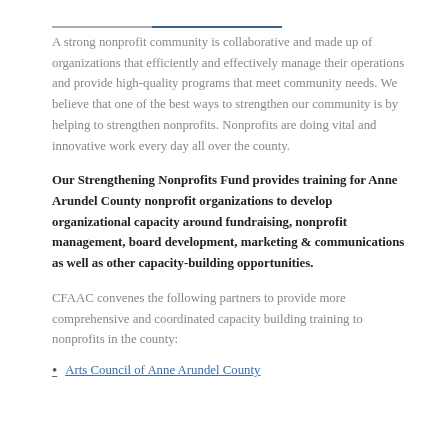A strong nonprofit community is collaborative and made up of organizations that efficiently and effectively manage their operations and provide high-quality programs that meet community needs. We believe that one of the best ways to strengthen our community is by helping to strengthen nonprofits. Nonprofits are doing vital and innovative work every day all over the county.
Our Strengthening Nonprofits Fund provides training for Anne Arundel County nonprofit organizations to develop organizational capacity around fundraising, nonprofit management, board development, marketing & communications as well as other capacity-building opportunities.
CFAAC convenes the following partners to provide more comprehensive and coordinated capacity building training to nonprofits in the county:
Arts Council of Anne Arundel County